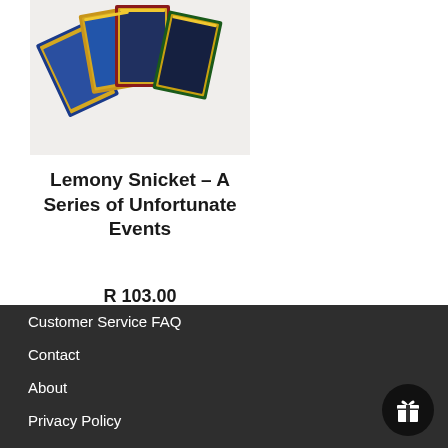[Figure (photo): Photo of Lemony Snicket A Series of Unfortunate Events book set with gold-framed miniature book covers spread out]
Lemony Snicket – A Series of Unfortunate Events
R 103.00
Customer Service FAQ
Contact
About
Privacy Policy